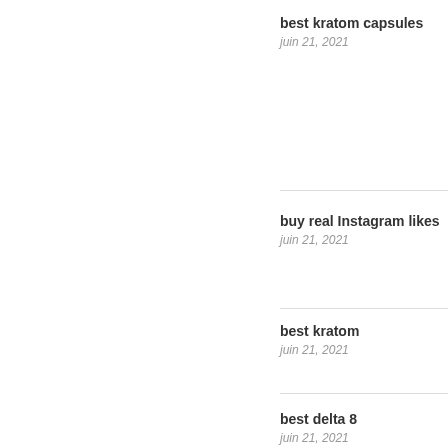best kratom capsules
juin 21, 2021
buy real Instagram likes
juin 21, 2021
best kratom
juin 21, 2021
best delta 8
juin 21, 2021